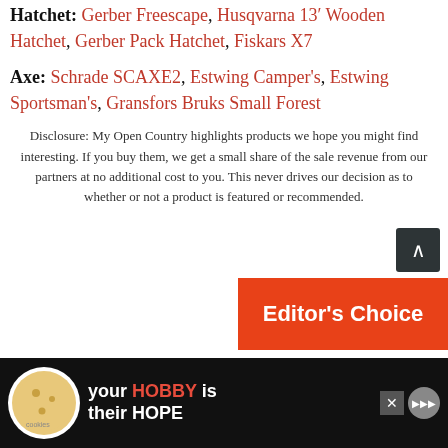Hatchet: Gerber Freescape, Husqvarna 13′ Wooden Hatchet, Gerber Pack Hatchet, Fiskars X7
Axe: Schrade SCAXE2, Estwing Camper's, Estwing Sportsman's, Gransfors Bruks Small Forest
Disclosure: My Open Country highlights products we hope you might find interesting. If you buy them, we get a small share of the sale revenue from our partners at no additional cost to you. This never drives our decision as to whether or not a product is featured or recommended.
[Figure (infographic): Editor's Choice red banner advertisement]
[Figure (infographic): Cookies for Kid's Cancer advertisement banner with 'your HOBBY is their HOPE' text]